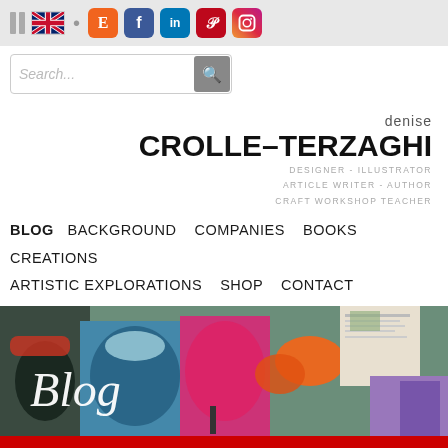Social media icons and navigation bar for Denise Crolle-Terzaghi website
denise CROLLE-TERZAGHI DESIGNER - ILLUSTRATOR ARTICLE WRITER - AUTHOR CRAFT WORKSHOP TEACHER
BLOG  BACKGROUND  COMPANIES  BOOKS  CREATIONS  ARTISTIC EXPLORATIONS  SHOP  CONTACT
[Figure (photo): Blog banner image showing colorful lampshades, butterfly, newspaper clippings, and crafts with 'Blog' text overlay in white script]
See life in blue